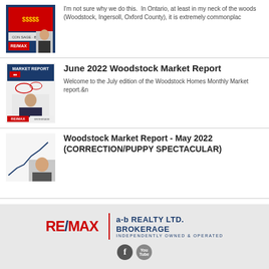I'm not sure why we do this. In Ontario, at least in my neck of the woods (Woodstock, Ingersoll, Oxford County), it is extremely commonplac
[Figure (photo): Thumbnail image with REMAX branding and text '$$$$$']
June 2022 Woodstock Market Report
[Figure (photo): Thumbnail image showing market report cover with RE/MAX broker photo]
Welcome to the July edition of the Woodstock Homes Monthly Market report.&n
Woodstock Market Report - May 2022 (CORRECTION/PUPPY SPECTACULAR)
[Figure (photo): Thumbnail image showing a line chart and a person]
RE/MAX | a-b REALTY LTD. BROKERAGE INDEPENDENTLY OWNED & OPERATED